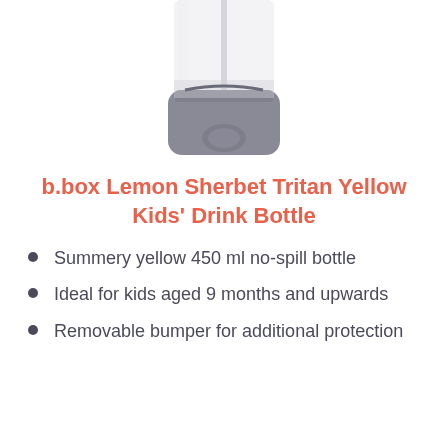[Figure (photo): Bottom portion of a clear drink bottle with a grey rubber bumper/protective sleeve at the base, shown on white background.]
b.box Lemon Sherbet Tritan Yellow Kids' Drink Bottle
Summery yellow 450 ml no-spill bottle
Ideal for kids aged 9 months and upwards
Removable bumper for additional protection